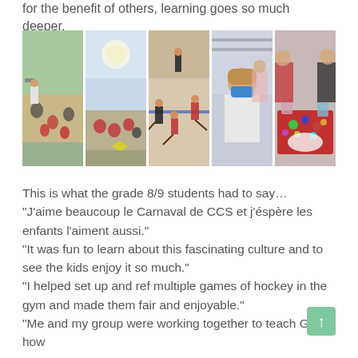for the benefit of others, learning goes so much deeper.
[Figure (photo): Strip of 5 photos showing elementary school students engaged in various activities including outdoor art/science, sunny outdoor group activity, gym floor hockey, a masked girl at a desk, and a crafts activity with colorful materials.]
This is what the grade 8/9 students had to say…
"J'aime beaucoup le Carnaval de CCS et j'éspère les enfants l'aiment aussi."
"It was fun to learn about this fascinating culture and to see the kids enjoy it so much."
"I helped set up and ref multiple games of hockey in the gym and made them fair and enjoyable."
"Me and my group were working together to teach Gr. 2 how